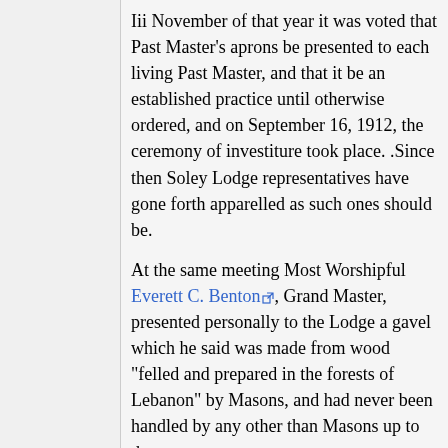Iii November of that year it was voted that Past Master's aprons be presented to each living Past Master, and that it be an established practice until otherwise ordered, and on September 16, 1912, the ceremony of investiture took place. .Since then Soley Lodge representatives have gone forth apparelled as such ones should be.
At the same meeting Most Worshipful Everett C. Benton, Grand Master, presented personally to the Lodge a gavel which he said was made from wood "felled and prepared in the forests of Lebanon" by Masons, and had never been handled by any other than Masons up to that moment.
Again the Dark Angel threw his shadow over us, and on March 23, 1913, took Bro. Aaron Sargent — a Charter Member and our first Secretary —a most faithful and enthusiastic Mason; and three days later, on the 26th, Wor. Bro. George W. Perkins — Master in 1891 to 1893 — left us to mourn his loss. He, too, was a faithful friend and brother; genial, courteous